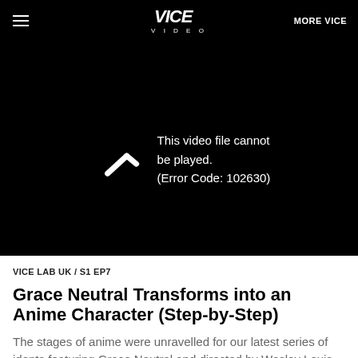≡  VICE VIDEO  MORE VICE
[Figure (screenshot): Black video player area showing a broken video error: 'This video file cannot be played. (Error Code: 102630)']
VICE LAB UK / S1 EP7
Grace Neutral Transforms into an Anime Character (Step-by-Step)
The stages of anime were unravelled for our latest series of idents featuring Grace Neutral and directed by Wesley Louis at...